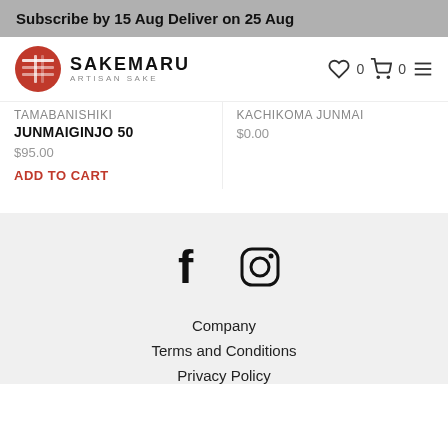Subscribe by 15 Aug Deliver on 25 Aug
[Figure (logo): Sakemaru Artisan Sake logo with red circular emblem and navigation icons]
TAMABANISHIKI JUNMAIGINJO 50
$95.00
ADD TO CART
KACHIKOMA JUNMAI
$0.00
[Figure (other): Facebook and Instagram social media icons]
Company
Terms and Conditions
Privacy Policy